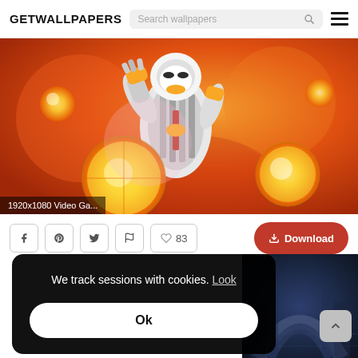GETWALLPAPERS
[Figure (screenshot): Website screenshot of GETWALLPAPERS showing a video game Overwatch-style character (robot/mech with yellow orbs) on orange/red background. Hero wallpaper image with label '1920x1080 Video Ga...']
1920x1080 Video Ga...
83
Download
We track sessions with cookies. Look
Ok